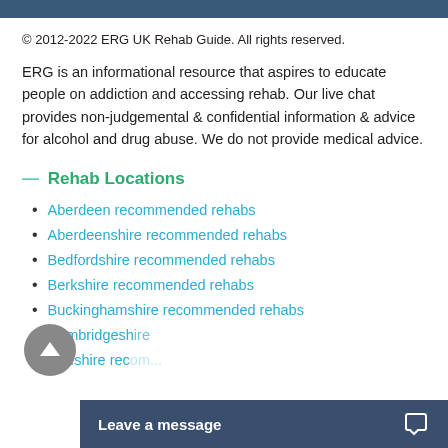© 2012-2022 ERG UK Rehab Guide. All rights reserved.
ERG is an informational resource that aspires to educate people on addiction and accessing rehab. Our live chat provides non-judgemental & confidential information & advice for alcohol and drug abuse. We do not provide medical advice.
— Rehab Locations
Aberdeen recommended rehabs
Aberdeenshire recommended rehabs
Bedfordshire recommended rehabs
Berkshire recommended rehabs
Buckinghamshire recommended rehabs
Cambridgeshire recommended rehabs
Cheshire recommended rehabs